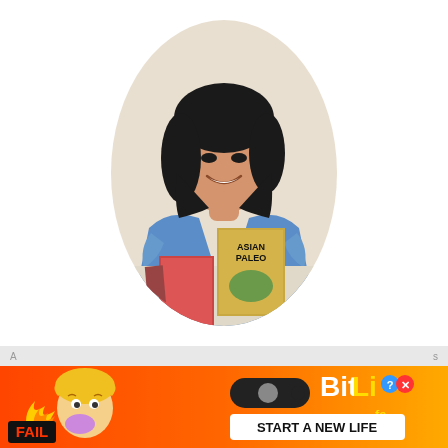[Figure (photo): Oval portrait photo of Chihyu, a smiling woman with short black hair wearing a blue top, holding a book titled 'Asian Paleo' with other books and items on the table in front of her. Background is cream/beige.]
HEY! I'M CHIHYU!
Welcome to I HEART UMAMI® where I share
[Figure (photo): Advertisement banner for BitLife game featuring cartoon characters, FAIL text, fire emoji, and BitLife logo with 'START A NEW LIFE' text on orange/red background.]